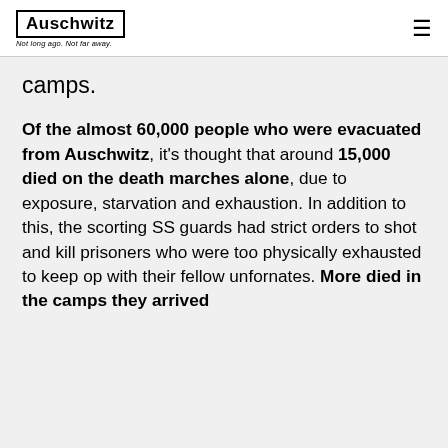Auschwitz — Not long ago. Not far away.
camps.
Of the almost 60,000 people who were evacuated from Auschwitz, it's thought that around 15,000 died on the death marches alone, due to exposure, starvation and exhaustion. In addition to this, the scorting SS guards had strict orders to shot and kill prisoners who were too physically exhausted to keep op with their fellow unfornates. More died in the camps they arrived